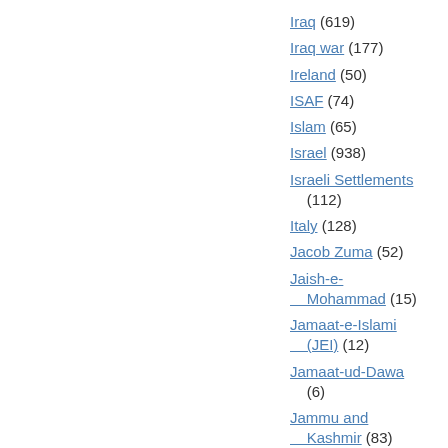Iraq (619)
Iraq war (177)
Ireland (50)
ISAF (74)
Islam (65)
Israel (938)
Israeli Settlements (112)
Italy (128)
Jacob Zuma (52)
Jaish-e-Mohammad (15)
Jamaat-e-Islami (JEI) (12)
Jamaat-ud-Dawa (6)
Jammu and Kashmir (83)